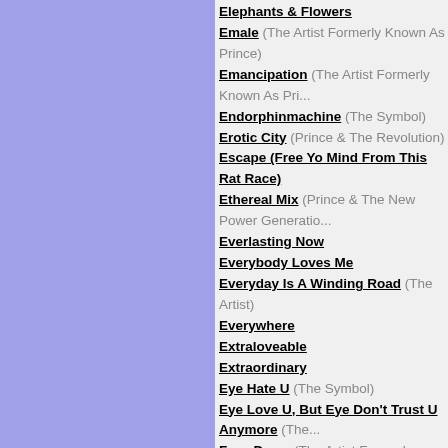Elephants & Flowers
Emale (The Artist Formerly Known As Prince)
Emancipation (The Artist Formerly Known As Prince)
Endorphinmachine (The Symbol)
Erotic City (Prince & The Revolution)
Escape (Free Yo Mind From This Rat Race)
Ethereal Mix (Prince & The New Power Generation)
Everlasting Now
Everybody Loves Me
Everyday Is A Winding Road (The Artist)
Everywhere
Extraloveable
Extraordinary
Eye Hate U (The Symbol)
Eye Love U, But Eye Don't Trust U Anymore (The...)
Face Down (The Artist Formerly Known As Prince)
FallInLove2Nite (Prince feat. Zooey Deschanel)
FallInLove2Nite
Family Name
Feel Good, Feel Better, Feel Wonderful
Feel U Up
FixUrLifeUp (Prince & 3rdEyeGirl)
For You
Forever In My Life
Free
Free Urself
Friend, Lover, Sister, Mother/Wife (The Artist Formerly Known As Prince)
From the Lotus...
Funknroll
FunkNRoll (Prince & 3rdEyeGirl)
Fury
Future Baby Mama
Future Soul Song
Gangster Glam (Prince And The New Power Generation)
Get On The Boat
Get On The Boat (Prince And The New Power...)